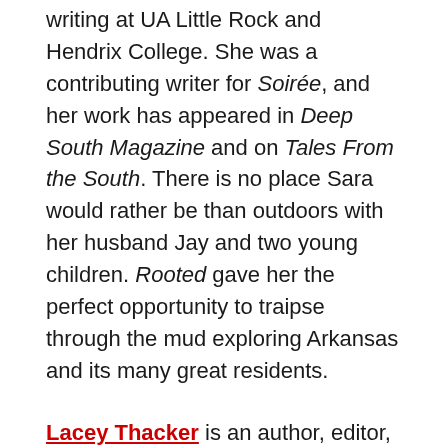writing at UA Little Rock and Hendrix College. She was a contributing writer for Soirée, and her work has appeared in Deep South Magazine and on Tales From the South. There is no place Sara would rather be than outdoors with her husband Jay and two young children. Rooted gave her the perfect opportunity to traipse through the mud exploring Arkansas and its many great residents.
Lacey Thacker is an author, editor, and all around investigator. Her interest in the intersection of personal and professional made writing about food and farming for Rooted a natural fit. Lacey has spent much time learning from farmers, chefs, and farmer's market coordinators as editor of Arkansas Food and Farm magazine. Alongside her extensive